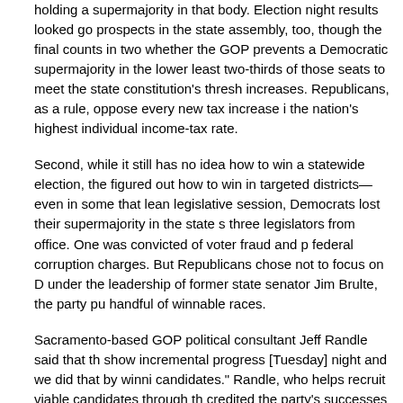holding a supermajority in that body. Election night results looked good for GOP prospects in the state assembly, too, though the final counts in two whether the GOP prevents a Democratic supermajority in the lower at least two-thirds of those seats to meet the state constitution's threshold increases. Republicans, as a rule, oppose every new tax increase in the nation's highest individual income-tax rate.
Second, while it still has no idea how to win a statewide election, the figured out how to win in targeted districts—even in some that lean legislative session, Democrats lost their supermajority in the state three legislators from office. One was convicted of voter fraud and federal corruption charges. But Republicans chose not to focus on under the leadership of former state senator Jim Brulte, the party handful of winnable races.
Sacramento-based GOP political consultant Jeff Randle said that show incremental progress [Tuesday] night and we did that by candidates." Randle, who helps recruit viable candidates through credited the party's successes to its newfound emphasis on "finding their districts." The best example may be Senator Andy Vidak, a Spanish farmer from the San Joaquin Valley. Though Democrats enjoy a 20- edge in Vidak's heavily Latino district, voters in the politically moderate favor independence. Vidak, a cowboy hat-wearing conservative rival, Fresno school board trustee Luis Chavez, by 10 points.